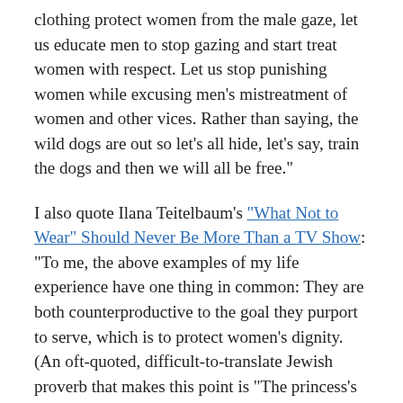clothing protect women from the male gaze, let us educate men to stop gazing and start treat women with respect. Let us stop punishing women while excusing men's mistreatment of women and other vices. Rather than saying, the wild dogs are out so let's all hide, let's say, train the dogs and then we will all be free."
I also quote Ilana Teitelbaum's "What Not to Wear" Should Never Be More Than a TV Show: "To me, the above examples of my life experience have one thing in common: They are both counterproductive to the goal they purport to serve, which is to protect women's dignity. (An oft-quoted, difficult-to-translate Jewish proverb that makes this point is "The princess's honor is in her inner beauty.") The result of a rabbi's obsessing over knee socks vs. tights or the sight of a married woman's hair has the oddly paradoxical effect of sexualizing women in a way that tank tops never will. … Whereas when I wear Orthodox garb, I get cat-calls and insinuating comments from men who clearly believe I am an innocent ripe for corruption. Rather